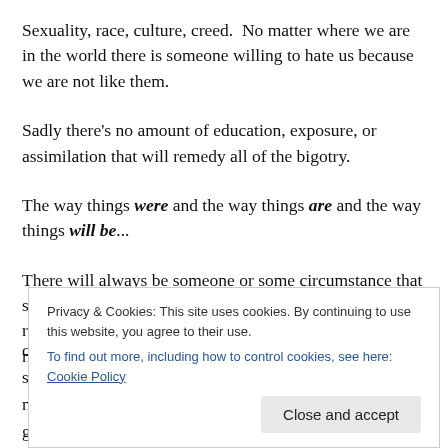Sexuality, race, culture, creed.  No matter where we are in the world there is someone willing to hate us because we are not like them.
Sadly there's no amount of education, exposure, or assimilation that will remedy all of the bigotry.
The way things were and the way things are and the way things will be...
There will always be someone or some circumstance that separates us.  And instead of erasing the barriers or removing the walls or pretending that the differences do not exist, let's
Privacy & Cookies: This site uses cookies. By continuing to use this website, you agree to their use.
To find out more, including how to control cookies, see here: Cookie Policy
Close and accept